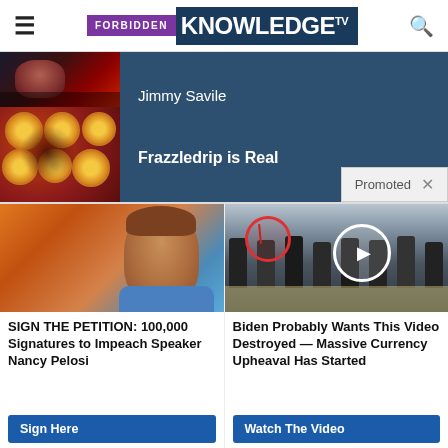FORBIDDEN KNOWLEDGE TV
[Figure (photo): Advertisement block showing two thumbnail images (dark/horror top image and pizza/devil imagery bottom) alongside text for Jimmy Savile and Frazzledrip is Real, with a Promoted label]
Jimmy Savile
Frazzledrip is Real
Promoted ×
[Figure (photo): Photo of Nancy Pelosi on orange background]
SIGN THE PETITION: 100,000 Signatures to Impeach Speaker Nancy Pelosi
Sign Here
[Figure (screenshot): Video thumbnail showing people at CIA headquarters with red and white circle overlays and a play button]
Biden Probably Wants This Video Destroyed — Massive Currency Upheaval Has Started
Watch The Video